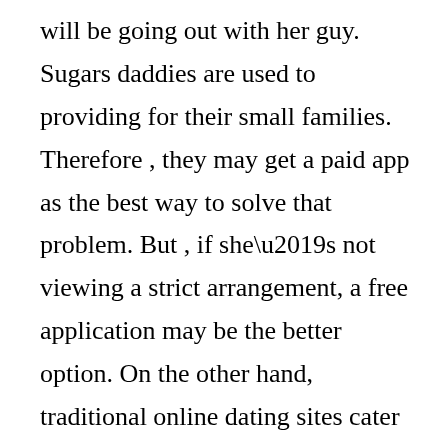will be going out with her guy. Sugars daddies are used to providing for their small families. Therefore , they may get a paid app as the best way to solve that problem. But , if she’s not viewing a strict arrangement, a free application may be the better option. On the other hand, traditional online dating sites cater to those who don’t need to give someone else’s bills. They already have the income to protect basic living expenditures and any other miscellaneous costs.